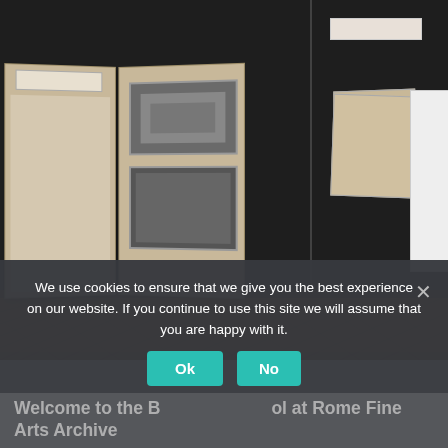[Figure (photo): A blurred photograph of archival documents and photo albums displayed on a dark shelf above a wooden herringbone-patterned surface. Open binders with black-and-white photographs are visible on the left, and folded documents are on the right.]
We use cookies to ensure that we give you the best experience on our website. If you continue to use this site we will assume that you are happy with it.
Ok
No
Welcome to the B[ritish ]School at Rome Fine Arts Archive